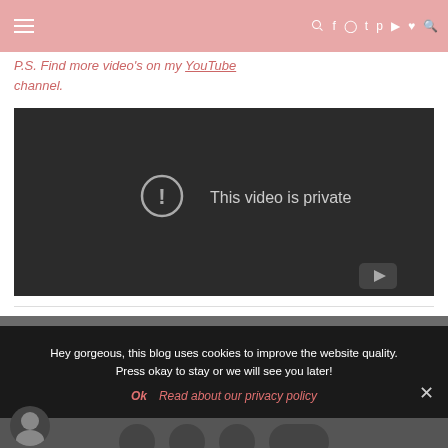Kaya Quinlan
P.S. Find more video's on my YouTube channel.
[Figure (screenshot): Embedded YouTube video player showing 'This video is private' message with warning icon on dark background and YouTube logo in bottom right corner]
Hey gorgeous, this blog uses cookies to improve the website quality. Press okay to stay or we will see you later!
Ok   Read about our privacy policy